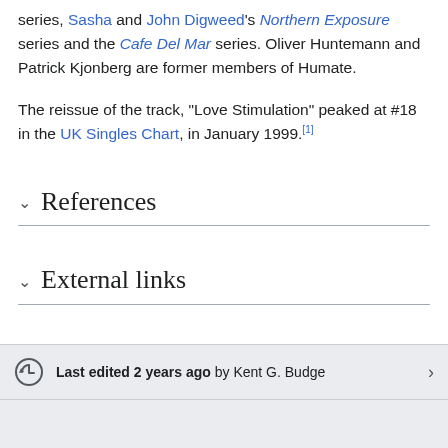series, Sasha and John Digweed's Northern Exposure series and the Cafe Del Mar series. Oliver Huntemann and Patrick Kjonberg are former members of Humate.
The reissue of the track, "Love Stimulation" peaked at #18 in the UK Singles Chart, in January 1999.[1]
References
External links
Last edited 2 years ago by Kent G. Budge